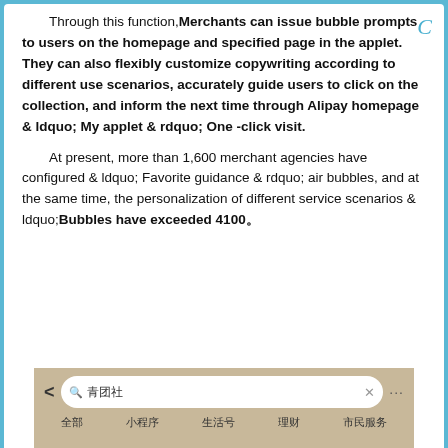Through this function, Merchants can issue bubble prompts to users on the homepage and specified page in the applet. They can also flexibly customize copywriting according to different use scenarios, accurately guide users to click on the collection, and inform the next time through Alipay homepage & ldquo; My applet & rdquo; One -click visit.
At present, more than 1,600 merchant agencies have configured & ldquo; Favorite guidance & rdquo; air bubbles, and at the same time, the personalization of different service scenarios & ldquo; Bubbles have exceeded 4100。
[Figure (screenshot): Screenshot of a mobile app search interface showing a search bar with Chinese text '青团社' and tabs below including 全部, 小程序, 生活号, 理财, 市民服务]